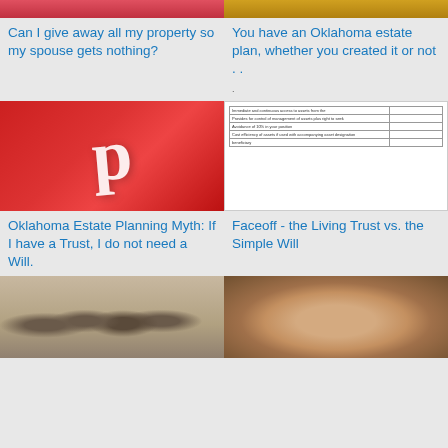[Figure (screenshot): Top cropped thumbnail strip - red/pink color]
Can I give away all my property so my spouse gets nothing?
[Figure (screenshot): Top cropped thumbnail strip - golden/yellow color]
You have an Oklahoma estate plan, whether you created it or not . .
[Figure (logo): Pinterest logo - red background with white P letter]
Oklahoma Estate Planning Myth: If I have a Trust, I do not need a Will.
[Figure (table-as-image): Table document screenshot with rows and columns]
Faceoff - the Living Trust vs. the Simple Will
[Figure (photo): Black and white vintage family photo - group of people standing outdoors]
[Figure (photo): Color photo of smiling young child on playground equipment]